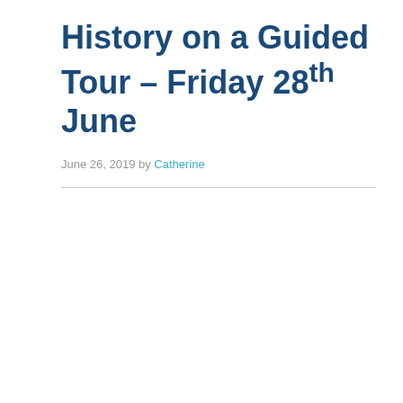History on a Guided Tour – Friday 28th June
June 26, 2019 by Catherine